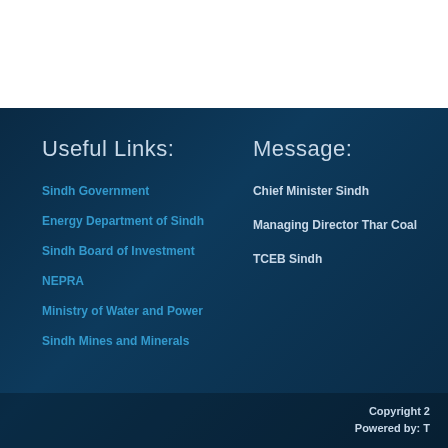Useful Links:
Sindh Government
Energy Department of Sindh
Sindh Board of Investment
NEPRA
Ministry of Water and Power
Sindh Mines and Minerals
Message:
Chief Minister Sindh
Managing Director Thar Coal
TCEB Sindh
Copyright 2
Powered by: T